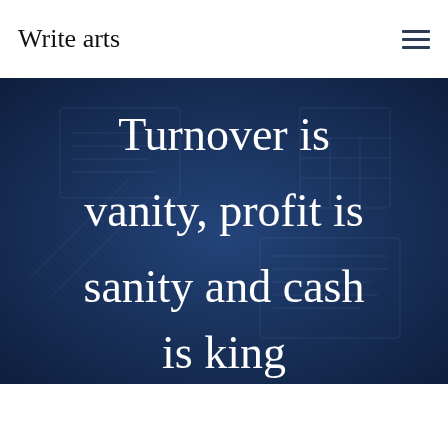Write arts
[Figure (illustration): Dark navy blue hero banner with overlaid text reading 'Turnover is vanity, profit is sanity and cash is king'. Background shows faint imagery of financial documents/calculator.]
Turnover is vanity, profit is sanity and cash is king